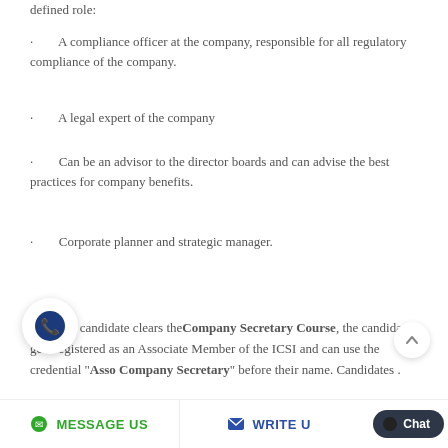defined role:
A compliance officer at the company, responsible for all regulatory compliance of the company.
A legal expert of the company
Can be an advisor to the director boards and can advise the best practices for company benefits.
Corporate planner and strategic manager.
Once the candidate clears the Company Secretary Course, the candidate gets registered as an Associate Member of the ICSI and can use the credential “Asso Company Secretary” before their name. Candidates .
MESSAGE US   WRITE US   Chat